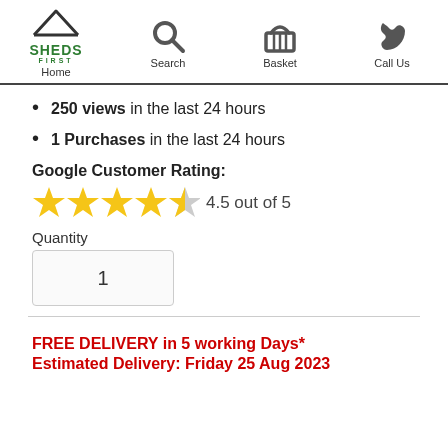Home | Search | Basket | Call Us
250 views in the last 24 hours
1 Purchases in the last 24 hours
Google Customer Rating:
[Figure (other): 4.5 out of 5 stars rating displayed with 4 full yellow stars and 1 half star]
Quantity
1
FREE DELIVERY in 5 working Days*
Estimated Delivery: Friday 25 Aug 2023